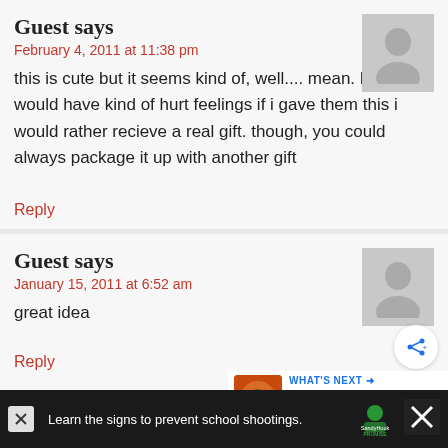Guest says
February 4, 2011 at 11:38 pm
this is cute but it seems kind of, well.... mean. My family would have kind of hurt feelings if i gave them this i would rather recieve a real gift. though, you could always package it up with another gift
Reply
Guest says
January 15, 2011 at 6:52 am
great idea
Reply
Guest says
Learn the signs to prevent school shootings.